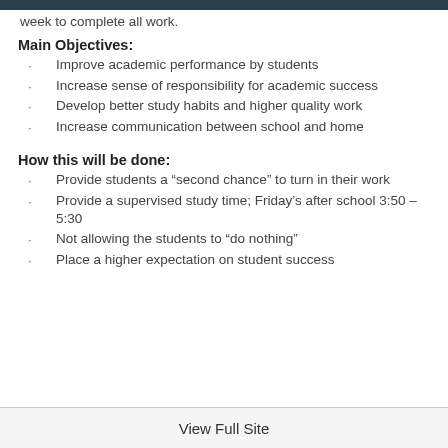week to complete all work.
Main Objectives:
Improve academic performance by students
Increase sense of responsibility for academic success
Develop better study habits and higher quality work
Increase communication between school and home
How this will be done:
Provide students a “second chance” to turn in their work
Provide a supervised study time; Friday’s after school 3:50 – 5:30
Not allowing the students to “do nothing”
Place a higher expectation on student success
View Full Site